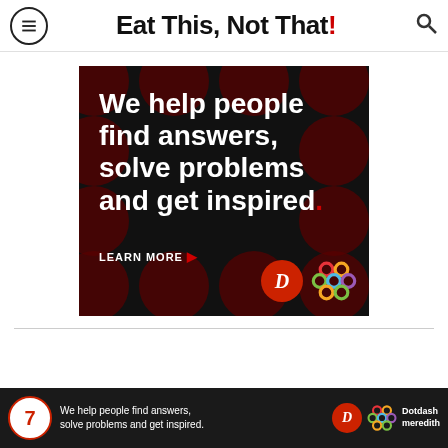Eat This, Not That!
[Figure (infographic): Dotdash Meredith advertisement on black background with dark red polka dots. Text: 'We help people find answers, solve problems and get inspired.' with LEARN MORE button, Dotdash D logo and woven multicolor logo.]
[Figure (infographic): Bottom navigation bar showing item number 7 in a red circle, small ad text 'We help people find answers, solve problems and get inspired.' with Dotdash D logo and Dotdash Meredith woven logo and text.]